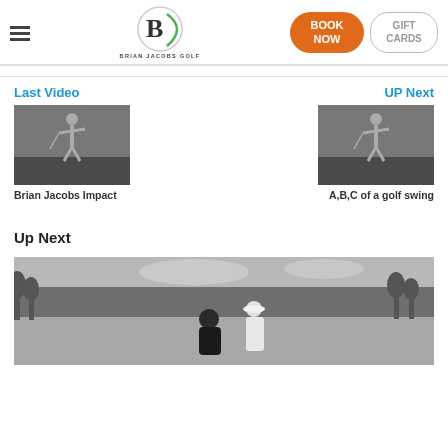Brian Jacobs Golf — BOOK NOW | GIFT CARDS
Last Video
UP Next
[Figure (photo): Black and white thumbnail of golfer swing — Brian Jacobs Impact]
Brian Jacobs Impact
[Figure (photo): Black and white thumbnail of golfer swing — A,B,C of a golf swing]
A,B,C of a golf swing
Up Next
[Figure (photo): Black and white photo of two people on a golf course, trees in the background]